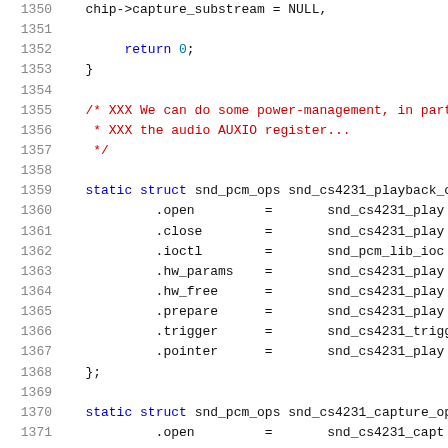Source code listing, lines 1350-1371, C kernel audio driver code
1350: chip->capture_substream = NULL;
1351: (blank)
1352: return 0;
1353: }
1354: (blank)
1355: /* XXX We can do some power-management, in part
1356:  * XXX the audio AUXIO register...
1357:  */
1358: (blank)
1359: static struct snd_pcm_ops snd_cs4231_playback_o
1360:         .open           =       snd_cs4231_play
1361:         .close          =       snd_cs4231_play
1362:         .ioctl          =       snd_pcm_lib_ioc
1363:         .hw_params      =       snd_cs4231_play
1364:         .hw_free        =       snd_cs4231_play
1365:         .prepare        =       snd_cs4231_play
1366:         .trigger        =       snd_cs4231_trigg
1367:         .pointer        =       snd_cs4231_play
1368: };
1369: (blank)
1370: static struct snd_pcm_ops snd_cs4231_capture_op
1371:         .open           =       snd_cs4231_capt